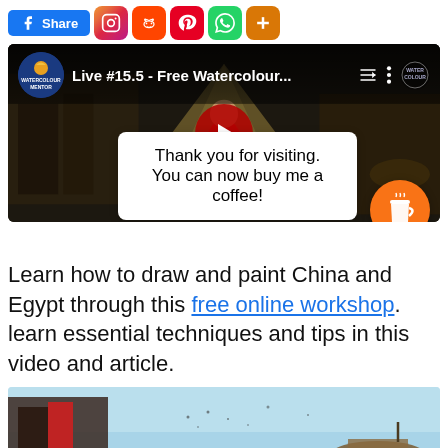[Figure (screenshot): Social share buttons: Facebook Share, Instagram, Reddit, Pinterest, WhatsApp, and a plus/more button]
[Figure (screenshot): YouTube video embed: 'Live #15.5 - Free Watercolour...' by Watercolour Mentor, showing scenes of China and Egypt watercolour paintings with a play button overlay. A popup says 'Thank you for visiting. You can now buy me a coffee!' with an orange coffee cup icon.]
Learn how to draw and paint China and Egypt through this free online workshop. learn essential techniques and tips in this video and article.
[Figure (photo): Partial view of a watercolour painting showing figures with red umbrella and boats, light blue sky]